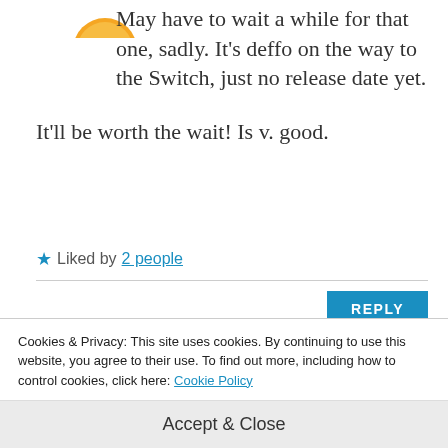[Figure (illustration): Partial view of a yellow/orange emoji or avatar at the top of the page]
May have to wait a while for that one, sadly. It's deffo on the way to the Switch, just no release date yet.

It'll be worth the wait! Is v. good.
★ Liked by 2 people
REPLY
[Figure (illustration): Partial avatar icon of a penguin-like character in blue/purple]
AK
Cookies & Privacy: This site uses cookies. By continuing to use this website, you agree to their use. To find out more, including how to control cookies, click here: Cookie Policy
Accept & Close